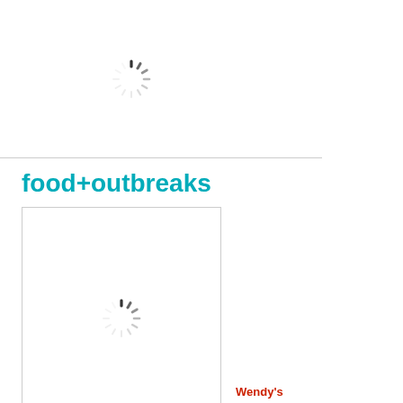[Figure (other): Loading spinner (circular dashed loader icon) in the top section of the page]
food+outbreaks
[Figure (other): Loading spinner (circular dashed loader icon) inside a bordered image placeholder box]
Wendy's
Romaine Lettuce Named in Growing E. coli